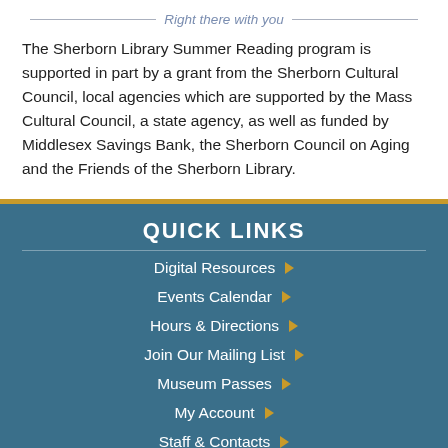Right there with you
The Sherborn Library Summer Reading program is supported in part by a grant from the Sherborn Cultural Council, local agencies which are supported by the Mass Cultural Council, a state agency, as well as funded by Middlesex Savings Bank, the Sherborn Council on Aging and the Friends of the Sherborn Library.
QUICK LINKS
Digital Resources
Events Calendar
Hours & Directions
Join Our Mailing List
Museum Passes
My Account
Staff & Contacts